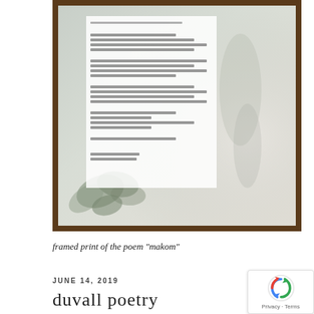[Figure (photo): A framed print of a poem titled 'makom', displayed in a dark wooden frame with white matting. The poem text is printed on white paper set against a misty, atmospheric background with leaves visible in the lower left. The overall image has a soft, grey-blue foggy quality.]
framed print of the poem "makom"
JUNE 14, 2019
duvall poetry